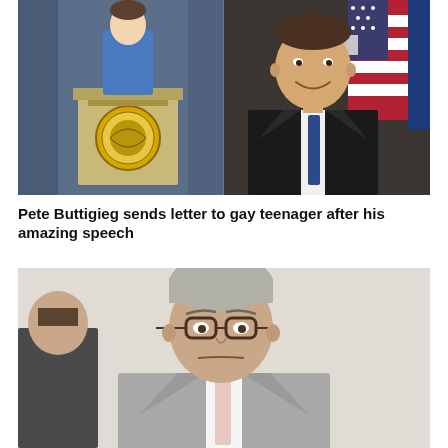[Figure (photo): Composite photo: left side shows a young person in blue standing at a podium with a circular official seal; right side shows Pete Buttigieg smiling in a dark suit with a blue tie, American flag and 'OF TR...' text visible in background.]
Pete Buttigieg sends letter to gay teenager after his amazing speech
[Figure (photo): Photo of an older man with grey hair and glasses wearing a light grey suit, looking stern or concerned, with another person partially visible on the left side.]